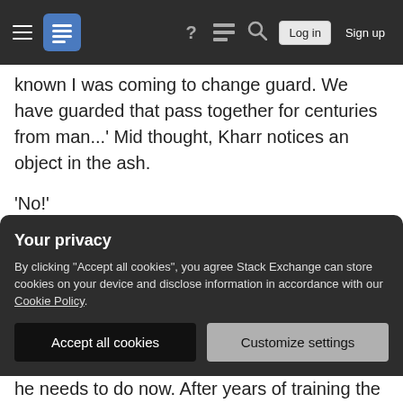Stack Exchange navigation bar with hamburger menu, logo, help, chat, search icons, Log in and Sign up buttons
known I was coming to change guard. We have guarded that pass together for centuries from man...' Mid thought, Kharr notices an object in the ash.
'No!'
Kharr's heart dropped as he picks it up and realizes what it was.
'Man will pay for this. Our lands are not hunting grounds for the sport of man to torture, kill and
Your privacy
By clicking "Accept all cookies", you agree Stack Exchange can store cookies on your device and disclose information in accordance with our Cookie Policy.
he needs to do now. After years of training the Drakil